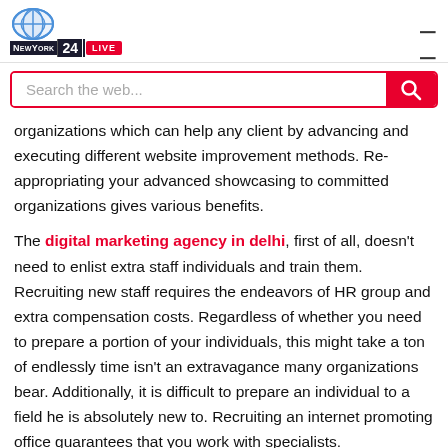NewYork 24 LIVE — hamburger menu icon
[Figure (screenshot): Search bar with placeholder text 'Search the web...' and a red search button with magnifying glass icon]
organizations which can help any client by advancing and executing different website improvement methods. Re-appropriating your advanced showcasing to committed organizations gives various benefits.
The digital marketing agency in delhi, first of all, doesn't need to enlist extra staff individuals and train them. Recruiting new staff requires the endeavors of HR group and extra compensation costs. Regardless of whether you need to prepare a portion of your individuals, this might take a ton of endlessly time isn't an extravagance many organizations bear. Additionally, it is difficult to prepare an individual to a field he is absolutely new to. Recruiting an internet promoting office guarantees that you work with specialists.